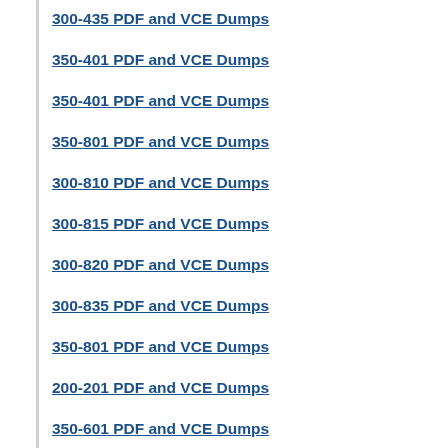300-435 PDF and VCE Dumps
350-401 PDF and VCE Dumps
350-401 PDF and VCE Dumps
350-801 PDF and VCE Dumps
300-810 PDF and VCE Dumps
300-815 PDF and VCE Dumps
300-820 PDF and VCE Dumps
300-835 PDF and VCE Dumps
350-801 PDF and VCE Dumps
200-201 PDF and VCE Dumps
350-601 PDF and VCE Dumps
300-610 PDF and VCE Dumps